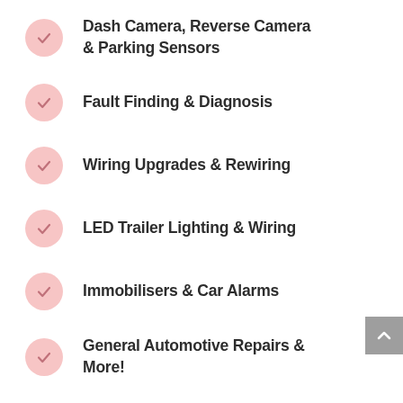Dash Camera, Reverse Camera & Parking Sensors
Fault Finding & Diagnosis
Wiring Upgrades & Rewiring
LED Trailer Lighting & Wiring
Immobilisers & Car Alarms
General Automotive Repairs & More!